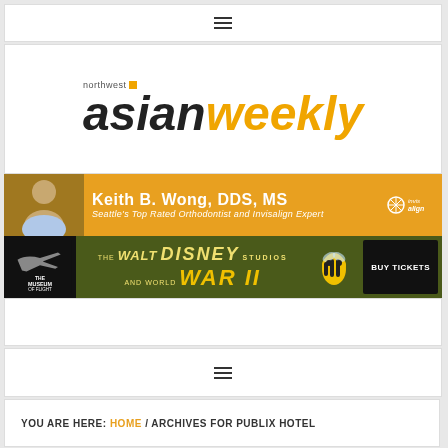☰ (hamburger menu icon)
[Figure (logo): Northwest Asian Weekly logo — 'northwest' in small text with orange square, 'asian' in large bold dark italic and 'weekly' in large bold orange italic]
[Figure (photo): Advertisement banner for Keith B. Wong, DDS, MS — Seattle's Top Rated Orthodontist and Invisalign Expert, orange background with photo of smiling man]
[Figure (photo): Advertisement banner for The Museum of Flight — The Walt Disney Studios and World War II exhibit, dark olive background with Buy Tickets button]
☰ (hamburger menu icon)
YOU ARE HERE: HOME / ARCHIVES FOR PUBLIX HOTEL